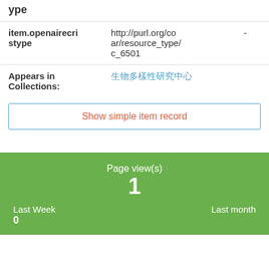ype
| item.openairecristype | http://purl.org/coar/resource_type/c_6501 | - |
| Appears in Collections: | 生物多樣性研究中心 |  |
Show simple item record
Page view(s)
1
Last Week
0
Last month